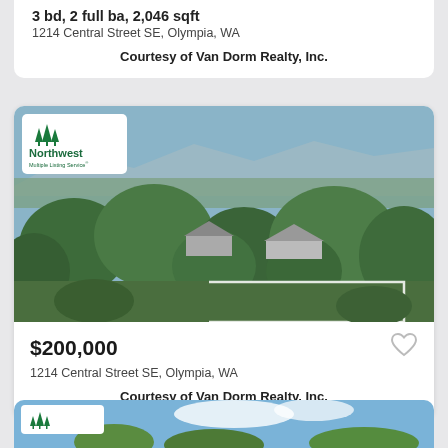3 bd, 2 full ba, 2,046 sqft
1214 Central Street SE, Olympia, WA
Courtesy of Van Dorm Realty, Inc.
[Figure (photo): Aerial view of residential neighborhood with trees and houses, Northwest Multiple Listing Service logo in top-left corner]
$200,000
1214 Central Street SE, Olympia, WA
Courtesy of Van Dorm Realty, Inc.
[Figure (photo): Partial view of another property listing photo showing blue sky and trees, with Northwest Multiple Listing Service logo]